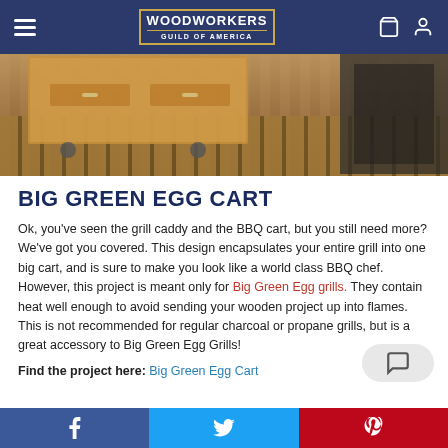WOODWORKERS GUILD OF AMERICA
[Figure (photo): Hero image showing a wooden cart/cabinet on a deck with composite decking boards visible at bottom]
BIG GREEN EGG CART
Ok, you’ve seen the grill caddy and the BBQ cart, but you still need more? We’ve got you covered. This design encapsulates your entire grill into one big cart, and is sure to make you look like a world class BBQ chef. However, this project is meant only for Big Green Egg grills. They contain heat well enough to avoid sending your wooden project up into flames. This is not recommended for regular charcoal or propane grills, but is a great accessory to Big Green Egg Grills!
Find the project here: Big Green Egg Cart